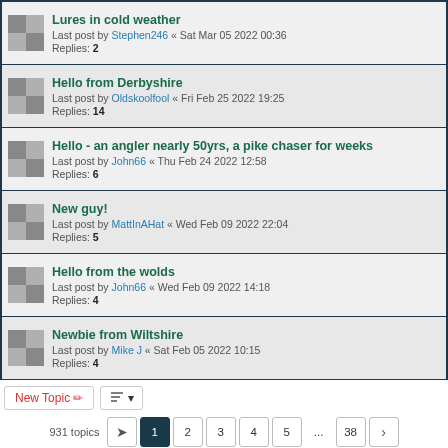Lures in cold weather — Last post by Stephen246 « Sat Mar 05 2022 00:36 — Replies: 2
Hello from Derbyshire — Last post by Oldskoolfool « Fri Feb 25 2022 19:25 — Replies: 14
Hello - an angler nearly 50yrs, a pike chaser for weeks — Last post by John66 « Thu Feb 24 2022 12:58 — Replies: 6
New guy! — Last post by MattInAHat « Wed Feb 09 2022 22:04 — Replies: 5
Hello from the wolds — Last post by John66 « Wed Feb 09 2022 14:18 — Replies: 4
Newbie from Wiltshire — Last post by Mike J « Sat Feb 05 2022 10:15 — Replies: 4
New Topic | Sort | 931 topics | Page 1 2 3 4 5 ... 38 >
Jump to
FORUM PERMISSIONS
You cannot post new topics in this forum
You cannot reply to topics in this forum